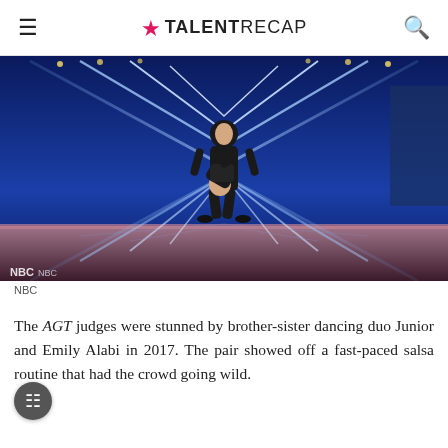TALENTRECAP
[Figure (photo): Two dancers performing on the America's Got Talent stage. One dancer is standing upright in a black costume with a cutout, while the other is bent backwards in a dramatic dip. The background features glowing blue diamond/chevron patterns typical of the AGT stage. NBC watermark visible in lower left corner.]
NBC
The AGT judges were stunned by brother-sister dancing duo Junior and Emily Alabi in 2017. The pair showed off a fast-paced salsa routine that had the crowd going wild.